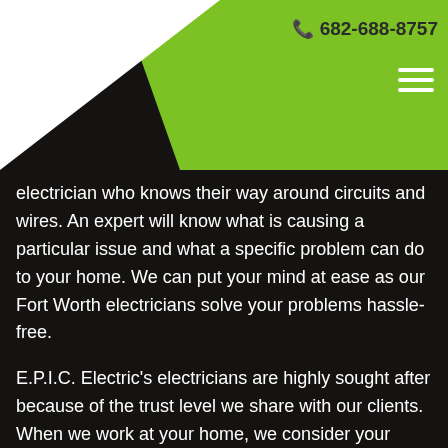682-688-8757
electrician who knows their way around circuits and wires. An expert will know what is causing a particular issue and what a specific problem can do to your home. We can put your mind at ease as our Fort Worth electricians solve your problems hassle-free.
E.P.I.C. Electric’s electricians are highly sought after because of the trust level we share with our clients. When we work at your home, we consider your property our own and try to bring out the best, budget-friendly solutions for your problems. From your favorite TV, home theater, or sound system installations to recessed lights and the like- we have done it all and make sure to do it right. Our